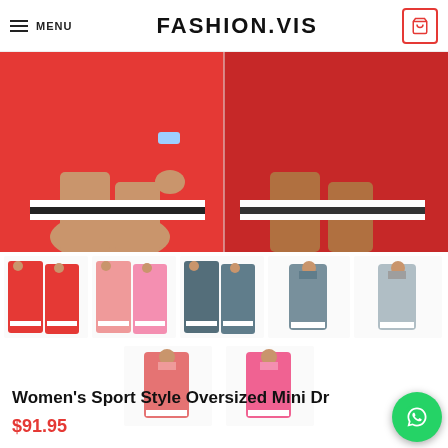MENU | FASHION.VIS | Cart: 0
[Figure (photo): Two-panel product photo of women in red sport style mini dresses with black and white stripe trim at hem]
[Figure (photo): Row of thumbnail images showing the dress in red, coral/pink, dark grey colors with two models each]
[Figure (photo): Second row of thumbnail images showing two pink/coral dress variants front view]
Women's Sport Style Oversized Mini Dress
$91.95